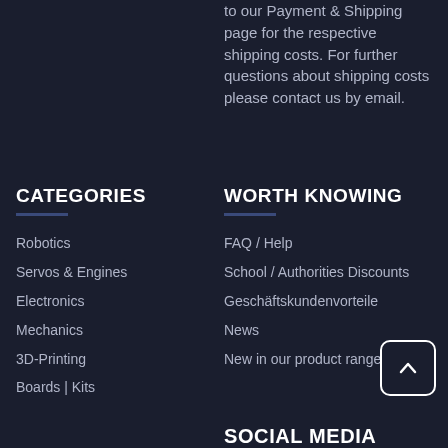to our Payment & Shipping page for the respective shipping costs. For further questions about shipping costs please contact us by email.
CATEGORIES
Robotics
Servos & Engines
Electronics
Mechanics
3D-Printing
Boards | Kits
WORTH KNOWING
FAQ / Help
School / Authorities Discounts
Geschäftskundenvorteile
News
New in our product range
SOCIAL MEDIA